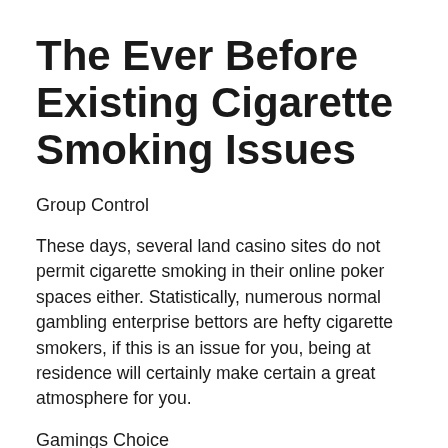The Ever Before Existing Cigarette Smoking Issues
Group Control
These days, several land casino sites do not permit cigarette smoking in their online poker spaces either. Statistically, numerous normal gambling enterprise bettors are hefty cigarette smokers, if this is an issue for you, being at residence will certainly make certain a great atmosphere for you.
Gamings Choice